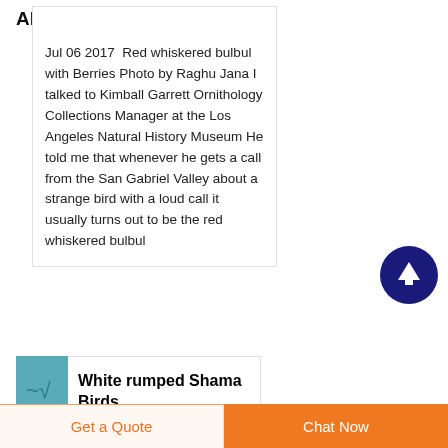Alhambra Source
Jul 06 2017  Red whiskered bulbul with Berries Photo by Raghu Jana I talked to Kimball Garrett Ornithology Collections Manager at the Los Angeles Natural History Museum He told me that whenever he gets a call from the San Gabriel Valley about a strange bird with a loud call it usually turns out to be the red whiskered bulbul
[Figure (other): Dark navy blue circular scroll-to-top button with white upward arrow icon]
[Figure (photo): Small teal/blue square thumbnail image for White rumped Shama Birds article]
White rumped Shama Birds
Get a Quote
Chat Now